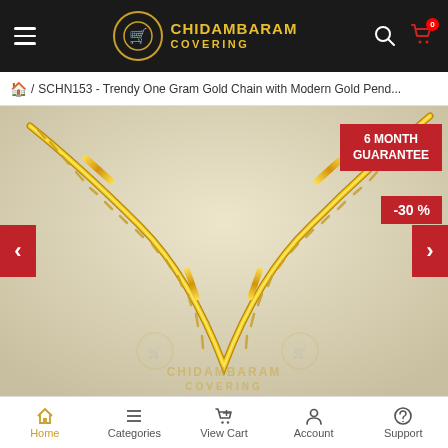CHIDAMBARAM COVERING
🏠 / SCHN153 - Trendy One Gram Gold Chain with Modern Gold Pend...
[Figure (photo): Product photo of a trendy one gram gold chain displayed against a light beige background. The chain is a twisted rope style in bright gold color. Badges: '6 MONTH GUARANTEE' (red, top right), '-30 %' (red, right side). Left and right navigation arrows are visible. Chidambaram Covering watermark is at the bottom center.]
Home | Categories | View Cart | Account | Support